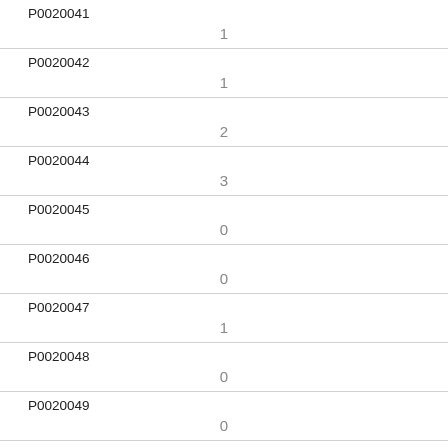| ID | Value |
| --- | --- |
| P0020041 | 1 |
| P0020042 | 1 |
| P0020043 | 2 |
| P0020044 | 3 |
| P0020045 | 0 |
| P0020046 | 0 |
| P0020047 | 1 |
| P0020048 | 0 |
| P0020049 | 0 |
| P0020050 | 0 |
| P0020051 |  |